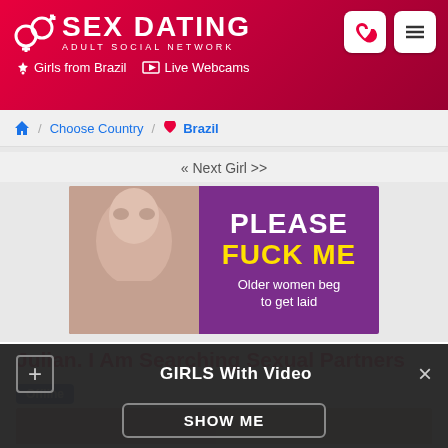[Figure (screenshot): Sex Dating adult social network website header with logo, navigation icons, Girls from Brazil and Live Webcams links]
🏠 / Choose Country / ❤ Brazil
« Next Girl >>
[Figure (photo): Advertisement banner with photo of woman and purple background text: PLEASE FUCK ME Older women beg to get laid]
Julian. I Am Searching Sexual Partners
Offline
[Figure (photo): Partial photo of person, cut off at bottom]
GIRLS With Video
SHOW ME